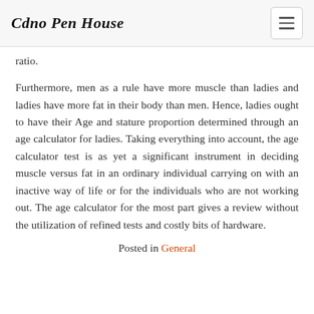Cdno Pen House
ratio.
Furthermore, men as a rule have more muscle than ladies and ladies have more fat in their body than men. Hence, ladies ought to have their Age and stature proportion determined through an age calculator for ladies. Taking everything into account, the age calculator test is as yet a significant instrument in deciding muscle versus fat in an ordinary individual carrying on with an inactive way of life or for the individuals who are not working out. The age calculator for the most part gives a review without the utilization of refined tests and costly bits of hardware.
Posted in General